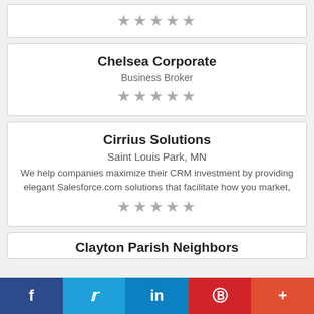[Figure (other): Five grey stars rating for an unlabeled card at top]
Chelsea Corporate
Business Broker
[Figure (other): Five grey stars rating for Chelsea Corporate]
Cirrius Solutions
Saint Louis Park, MN
We help companies maximize their CRM investment by providing elegant Salesforce.com solutions that facilitate how you market,
[Figure (other): Five grey stars rating for Cirrius Solutions]
Clayton Parish Neighbors
[Figure (infographic): Social media share bar with Facebook, Twitter, LinkedIn, Pinterest, and More buttons]